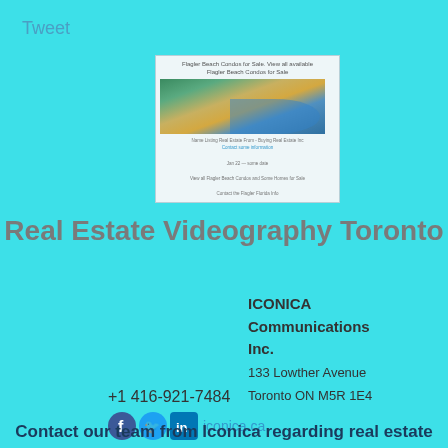Tweet
[Figure (screenshot): Screenshot of a real estate website showing Flagler Beach Condos for Sale with an aerial photo of a beach]
Real Estate Videography Toronto
ICONICA
Communications
Inc.
133 Lowther Avenue
Toronto ON M5R 1E4
+1 416-921-7484
iconica.ca
Contact our team from Iconica regarding real estate